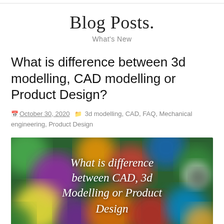Blog Posts.
What's New
What is difference between 3d modelling, CAD modelling or Product Design?
October 30, 2020   3d modelling, CAD, FAQ, Mechanical engineering, Product Design
[Figure (illustration): Colorful blurred bokeh background with circles in multiple colors (green, purple, orange, red, blue, yellow), overlaid with italic script text reading: What is difference between CAD, 3d Modelling or Product Design]